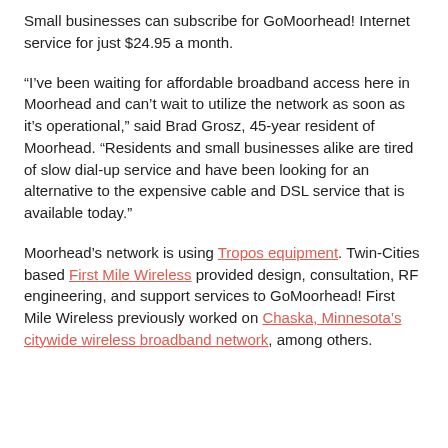Small businesses can subscribe for GoMoorhead! Internet service for just $24.95 a month.
“I’ve been waiting for affordable broadband access here in Moorhead and can’t wait to utilize the network as soon as it’s operational,” said Brad Grosz, 45-year resident of Moorhead. “Residents and small businesses alike are tired of slow dial-up service and have been looking for an alternative to the expensive cable and DSL service that is available today.”
Moorhead’s network is using Tropos equipment. Twin-Cities based First Mile Wireless provided design, consultation, RF engineering, and support services to GoMoorhead! First Mile Wireless previously worked on Chaska, Minnesota’s citywide wireless broadband network, among others.